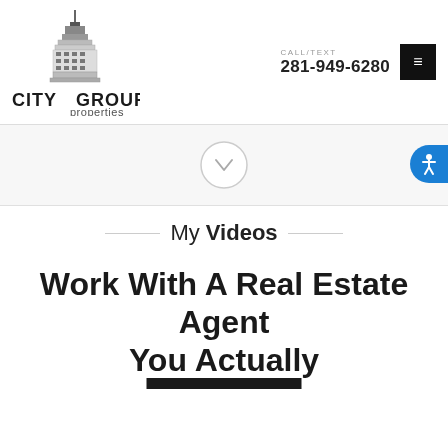[Figure (logo): City Group Properties logo with skyscraper building illustration and text 'CITY GROUP properties']
CALL/TEXT 281-949-6280
[Figure (infographic): Scroll down arrow inside a circle]
[Figure (infographic): Accessibility icon button (blue circle with person icon)]
My Videos
Work With A Real Estate Agent You Actually